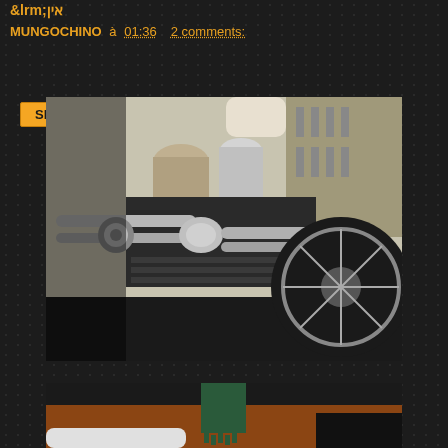&lrm;אין
MUNGOCHINO à 01:36    2 comments:
Share
[Figure (photo): Close-up photograph of a motorcycle engine, showing a V-twin engine with chrome exhaust pipes and engine components, with a wheel visible on the right side, taken in an urban setting]
[Figure (photo): Partial photograph at the bottom showing what appears to be a motorcycle or vehicle part with some green/teal colored element, taken on a reddish-brown surface]